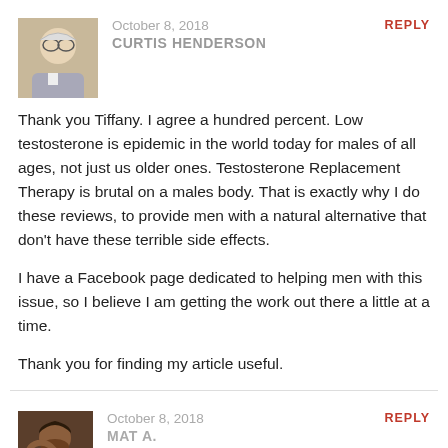[Figure (photo): Avatar photo of Curtis Henderson, elderly man with glasses]
October 8, 2018
CURTIS HENDERSON
REPLY
Thank you Tiffany. I agree a hundred percent. Low testosterone is epidemic in the world today for males of all ages, not just us older ones. Testosterone Replacement Therapy is brutal on a males body. That is exactly why I do these reviews, to provide men with a natural alternative that don't have these terrible side effects.
I have a Facebook page dedicated to helping men with this issue, so I believe I am getting the work out there a little at a time.
Thank you for finding my article useful.
[Figure (photo): Avatar photo of Mat A., young man flexing]
October 8, 2018
MAT A.
REPLY